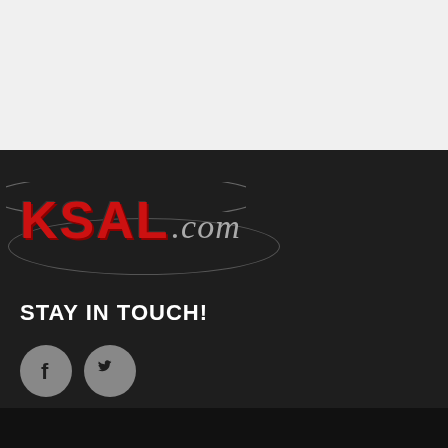[Figure (logo): KSAL.com logo in red bold text with italic .com on dark background with oval swoosh]
STAY IN TOUCH!
[Figure (other): Facebook and Twitter social media icons as gray circles]